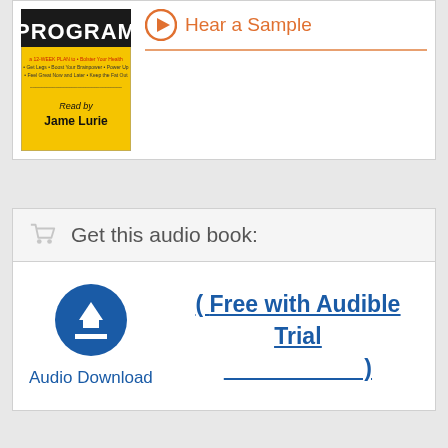[Figure (illustration): Book cover with yellow background showing 'PROGRAM' title and 'Read by Jame Lurie' text]
Hear a Sample
Get this audio book:
[Figure (illustration): Blue circular download button icon]
Audio Download
( Free with Audible Trial )